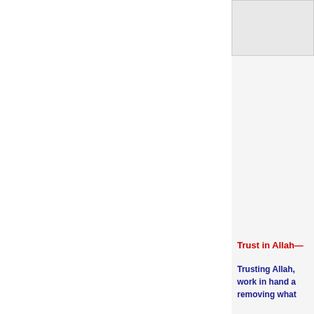[Figure (other): A small rectangular image or box in the upper right column, light gray filled with border.]
Trust in Allah—
Trusting Allah, work in hand a removing what